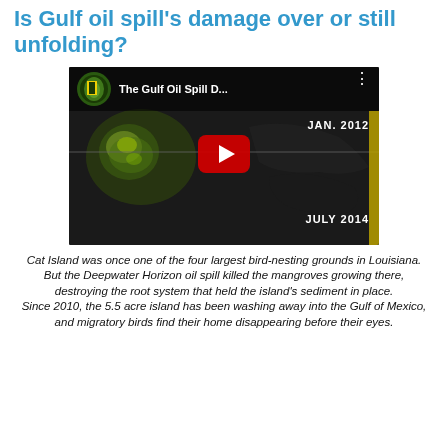Is Gulf oil spill's damage over or still unfolding?
[Figure (screenshot): YouTube video thumbnail for 'The Gulf Oil Spill D...' by National Geographic, showing satellite imagery of the Gulf coast. Labels 'JAN. 2012' and 'JULY 2014' appear on the right side. A red YouTube play button is centered on the thumbnail.]
Cat Island was once one of the four largest bird-nesting grounds in Louisiana. But the Deepwater Horizon oil spill killed the mangroves growing there, destroying the root system that held the island's sediment in place. Since 2010, the 5.5 acre island has been washing away into the Gulf of Mexico, and migratory birds find their home disappearing before their eyes.